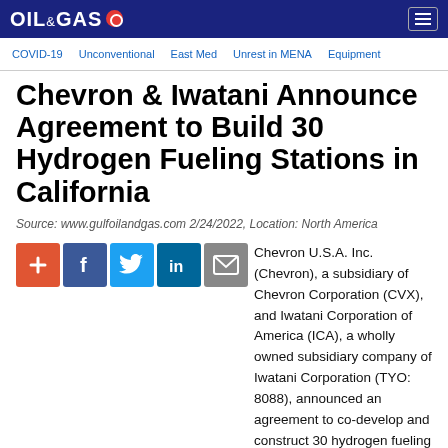OIL & GAS
COVID-19  Unconventional  East Med  Unrest in MENA  Equipment
Chevron & Iwatani Announce Agreement to Build 30 Hydrogen Fueling Stations in California
Source: www.gulfoilandgas.com 2/24/2022, Location: North America
[Figure (infographic): Social sharing buttons: plus/add, Facebook, Twitter, LinkedIn, Email]
Chevron U.S.A. Inc. (Chevron), a subsidiary of Chevron Corporation (CVX), and Iwatani Corporation of America (ICA), a wholly owned subsidiary company of Iwatani Corporation (TYO: 8088), announced an agreement to co-develop and construct 30 hydrogen fueling sites